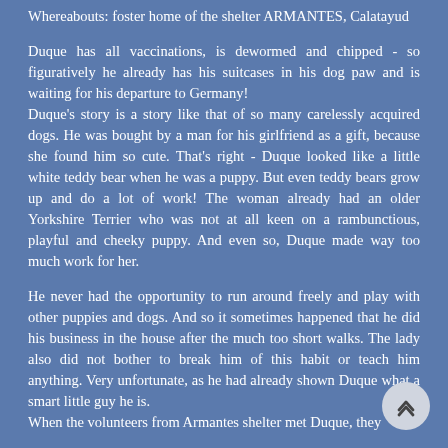Whereabouts: foster home of the shelter ARMANTES, Calatayud
Duque has all vaccinations, is dewormed and chipped - so figuratively he already has his suitcases in his dog paw and is waiting for his departure to Germany!
Duque's story is a story like that of so many carelessly acquired dogs. He was bought by a man for his girlfriend as a gift, because she found him so cute. That's right - Duque looked like a little white teddy bear when he was a puppy. But even teddy bears grow up and do a lot of work! The woman already had an older Yorkshire Terrier who was not at all keen on a rambunctious, playful and cheeky puppy. And even so, Duque made way too much work for her.
He never had the opportunity to run around freely and play with other puppies and dogs. And so it sometimes happened that he did his business in the house after the much too short walks. The lady also did not bother to break him of this habit or teach him anything. Very unfortunate, as he had already shown Duque what a smart little guy he is.
When the volunteers from Armantes shelter met Duque, they